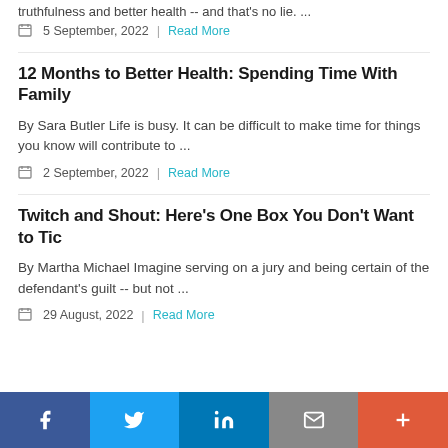truthfulness and better health -- and that's no lie. ...
5 September, 2022 | Read More
12 Months to Better Health: Spending Time With Family
By Sara Butler Life is busy. It can be difficult to make time for things you know will contribute to ...
2 September, 2022 | Read More
Twitch and Shout: Here's One Box You Don't Want to Tic
By Martha Michael Imagine serving on a jury and being certain of the defendant's guilt -- but not ...
29 August, 2022 | Read More